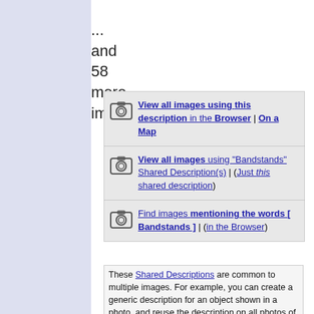... and 58 more images.
View all images using this description in the Browser | On a Map
View all images using "Bandstands" Shared Description(s) | (Just this shared description)
Find images mentioning the words [ Bandstands ] | (in the Browser)
These Shared Descriptions are common to multiple images. For example, you can create a generic description for an object shown in a photo, and reuse the description on all photos of the object. All descriptions are public and shared between contributors, i.e. you can reuse a description created by others, just as they can...